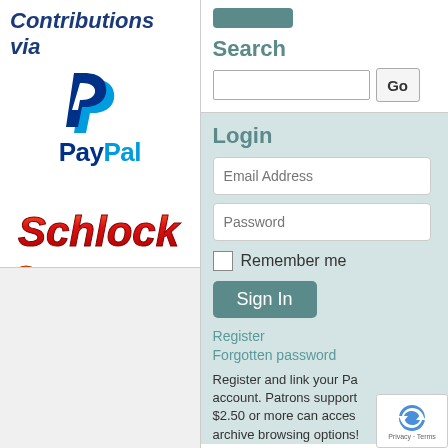Contributions via
[Figure (logo): PayPal logo with blue P icon and PayPal text in blue]
[Figure (logo): Schlock Patreon logo with red stylized text 'Schlock' and orange Patreon style text]
Search
[Figure (screenshot): Search input box with Go button]
Login
[Figure (screenshot): Login form with Email Address field, Password field, Remember me checkbox, Sign In button, Register and Forgotten password links, and register info text]